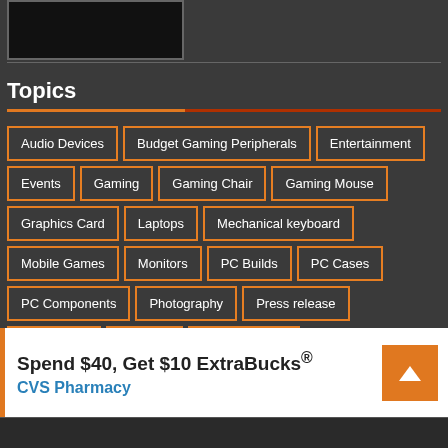[Figure (photo): Partial screenshot of an image thumbnail at top of page]
Topics
Audio Devices
Budget Gaming Peripherals
Entertainment
Events
Gaming
Gaming Chair
Gaming Mouse
Graphics Card
Laptops
Mechanical keyboard
Mobile Games
Monitors
PC Builds
PC Cases
PC Components
Photography
Press release
Promotions
Reviews
Smart Devices
Spend $40, Get $10 ExtraBucks® CVS Pharmacy